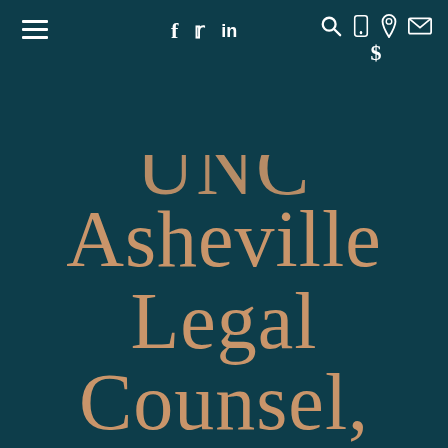≡  f  𝕥  in  🔍  📱  📍  ✉  $
UNC Asheville Legal Counsel, joins Allen Stahl + Kill...